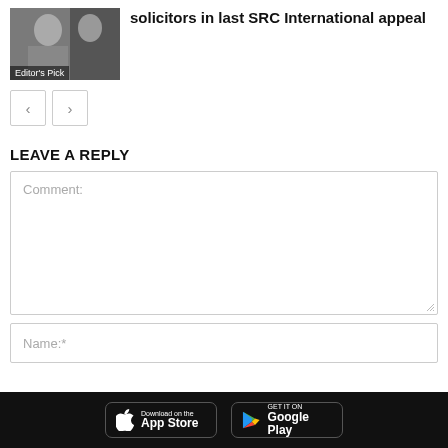[Figure (photo): Thumbnail image of a person with Editor's Pick label overlay]
solicitors in last SRC International appeal
[Figure (other): Navigation previous and next buttons]
LEAVE A REPLY
Comment:
Name:*
Download on the App Store | GET IT ON Google Play